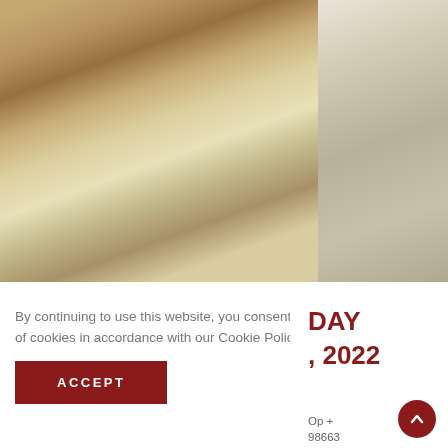[Figure (photo): Left photo: person's tattooed arms working on a gridded pattern-drafting mat with a yellow pencil and fabric ruler. Books/patterns visible in background.]
[Figure (photo): Right photo: smiling woman in a colorful floral blazer standing in what appears to a classroom or fabric shop.]
By continuing to use this website, you consent to the use of cookies in accordance with our Cookie Policy.
ACCEPT
DAY
, 2022
Op +
98663